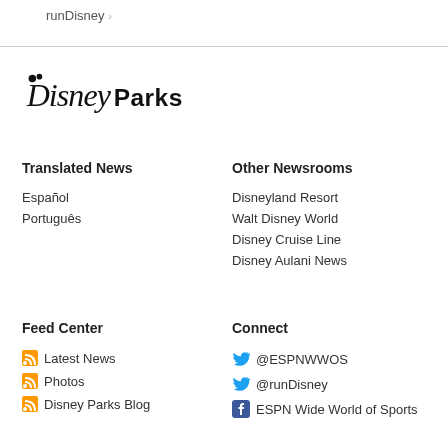runDisney >
[Figure (logo): Disney Parks logo in black script font]
Translated News
Other Newsrooms
Español
Português
Disneyland Resort
Walt Disney World
Disney Cruise Line
Disney Aulani News
Feed Center
Connect
Latest News
Photos
Disney Parks Blog
@ESPNWWOS
@runDisney
ESPN Wide World of Sports